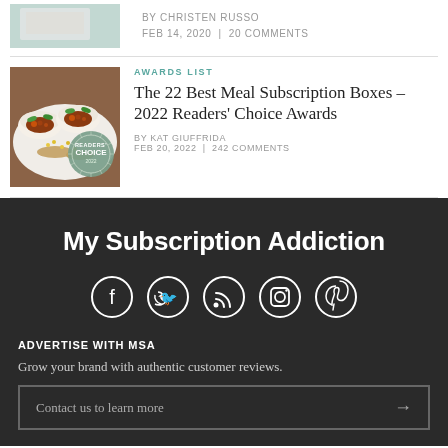BY CHRISTEN RUSSO  FEB 14, 2020  |  20 COMMENTS
[Figure (photo): Thumbnail image with light green/teal background, partially visible at top]
AWARDS LIST
The 22 Best Meal Subscription Boxes – 2022 Readers' Choice Awards
BY KAT GIUFFRIDA  FEB 20, 2022  |  242 COMMENTS
[Figure (photo): Food photo showing Asian-style bao buns with meat filling and green peppers, with a Readers' Choice 2022 badge overlay]
My Subscription Addiction
[Figure (infographic): Social media icons: Facebook, Twitter, RSS, Instagram, Pinterest — white circle outlines on dark background]
ADVERTISE WITH MSA
Grow your brand with authentic customer reviews.
Contact us to learn more →